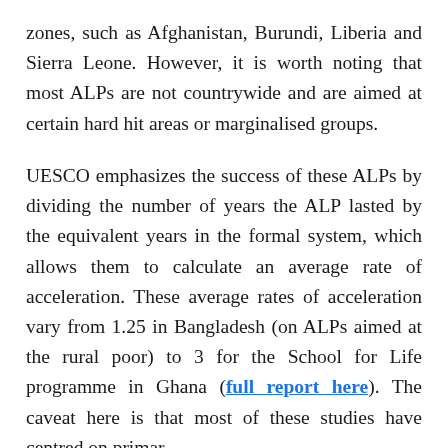zones, such as Afghanistan, Burundi, Liberia and Sierra Leone. However, it is worth noting that most ALPs are not countrywide and are aimed at certain hard hit areas or marginalised groups.
UESCO emphasizes the success of these ALPs by dividing the number of years the ALP lasted by the equivalent years in the formal system, which allows them to calculate an average rate of acceleration. These average rates of acceleration vary from 1.25 in Bangladesh (on ALPs aimed at the rural poor) to 3 for the School for Life programme in Ghana (full report here). The caveat here is that most of these studies have centred on primar...